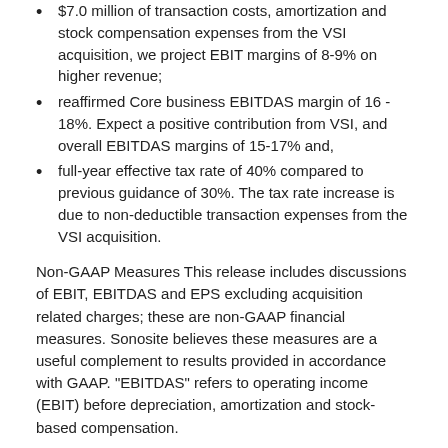$7.0 million of transaction costs, amortization and stock compensation expenses from the VSI acquisition, we project EBIT margins of 8-9% on higher revenue;
reaffirmed Core business EBITDAS margin of 16 - 18%. Expect a positive contribution from VSI, and overall EBITDAS margins of 15-17% and,
full-year effective tax rate of 40% compared to previous guidance of 30%. The tax rate increase is due to non-deductible transaction expenses from the VSI acquisition.
Non-GAAP Measures This release includes discussions of EBIT, EBITDAS and EPS excluding acquisition related charges; these are non-GAAP financial measures. Sonosite believes these measures are a useful complement to results provided in accordance with GAAP. "EBITDAS" refers to operating income (EBIT) before depreciation, amortization and stock-based compensation.
Conference Call Information
Sonosite will hold a conference call on July 26 at 1:30 pm PT/4:30 pm ET. The call will be broadcast live and can be accessed via www.sonosite.com/company/investors. A replay of the audio